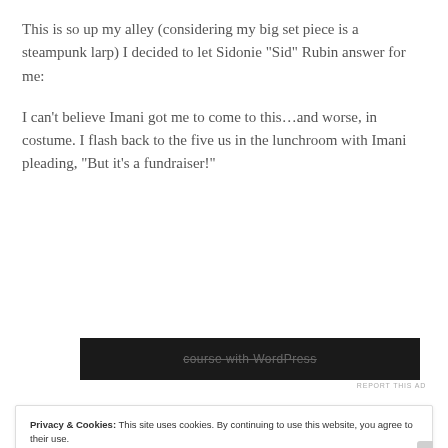This is so up my alley (considering my big set piece is a steampunk larp) I decided to let Sidonie “Sid” Rubin answer for me:
I can’t believe Imani got me to come to this…and worse, in costume. I flash back to the five us in the lunchroom with Imani pleading, “But it’s a fundraiser!”
[Figure (screenshot): Dark advertisement banner partially visible showing text 'course with WordPress']
REPORT THIS AD
Privacy & Cookies: This site uses cookies. By continuing to use this website, you agree to their use.
To find out more, including how to control cookies, see here: Cookie Policy
Close and accept